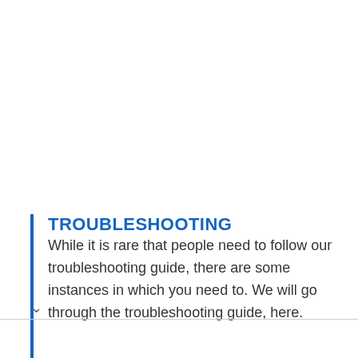TROUBLESHOOTING
While it is rare that people need to follow our troubleshooting guide, there are some instances in which you need to. We will go through the troubleshooting guide, here.